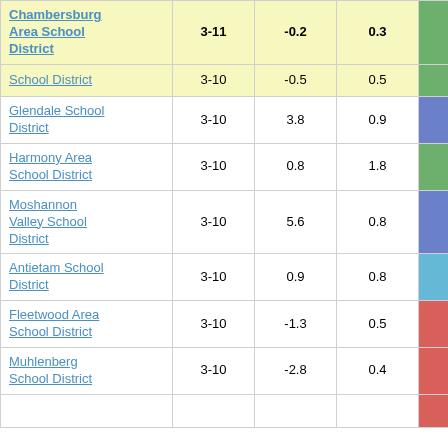| District | Grades | Col3 | Col4 | Score |
| --- | --- | --- | --- | --- |
| Chambersburg Area School District | 3-11 | -0.2 | 0.3 | -0.63 |
| School District | 3-10 | -0.5 | 0.5 | -0.97 |
| Glendale School District | 3-10 | 3.8 | 0.9 | 4.33 |
| Harmony Area School District | 3-10 | 0.8 | 1.8 | 0.46 |
| Moshannon Valley School District | 3-10 | 5.6 | 0.8 | 6.66 |
| Antietam School District | 3-10 | 0.9 | 0.8 | 1.07 |
| Fleetwood Area School District | 3-10 | -1.3 | 0.5 | -2.54 |
| Muhlenberg School District | 3-10 | -2.8 | 0.4 | -7.00 |